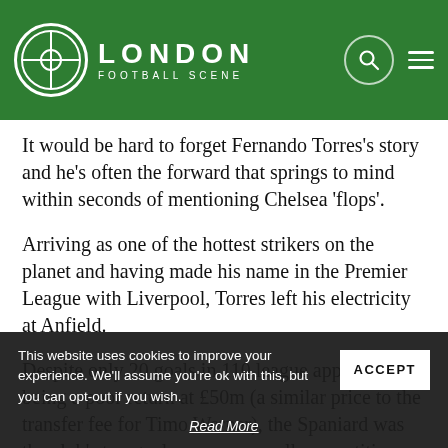London Football Scene
It would be hard to forget Fernando Torres’s story and he’s often the forward that springs to mind within seconds of mentioning Chelsea ‘flops’.
Arriving as one of the hottest strikers on the planet and having made his name in the Premier League with Liverpool, Torres left his electricity at Anfield.
Despite only 20 goals in 110 league appearances being a poor return at £50m (a similar price to the transfer fee for Timo Werner), the Spaniard was the club’s top goalscorer across all competitions with just eight distributed across seven competitions with just eight
This website uses cookies to improve your experience. We’ll assume you’re ok with this, but you can opt-out if you wish.
Read More